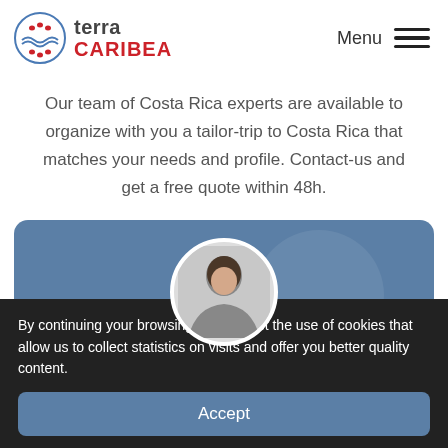terra CARIBEA | Menu
Our team of Costa Rica experts are available to organize with you a tailor-trip to Costa Rica that matches your needs and profile. Contact-us and get a free quote within 48h.
[Figure (photo): Blue card with a circular profile photo of a young woman with dark hair]
By continuing your browsing, you accept the use of cookies that allow us to collect statistics on visits and offer you better quality content.
Accept